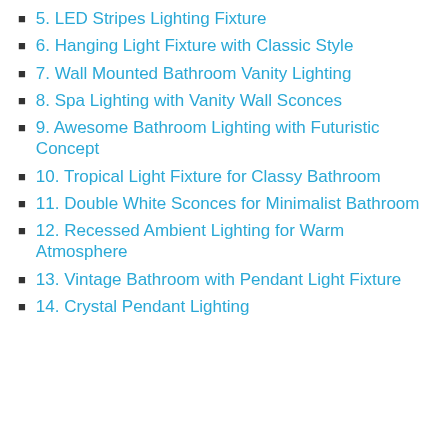5. LED Stripes Lighting Fixture
6. Hanging Light Fixture with Classic Style
7. Wall Mounted Bathroom Vanity Lighting
8. Spa Lighting with Vanity Wall Sconces
9. Awesome Bathroom Lighting with Futuristic Concept
10. Tropical Light Fixture for Classy Bathroom
11. Double White Sconces for Minimalist Bathroom
12. Recessed Ambient Lighting for Warm Atmosphere
13. Vintage Bathroom with Pendant Light Fixture
14. Crystal Pendant Lighting